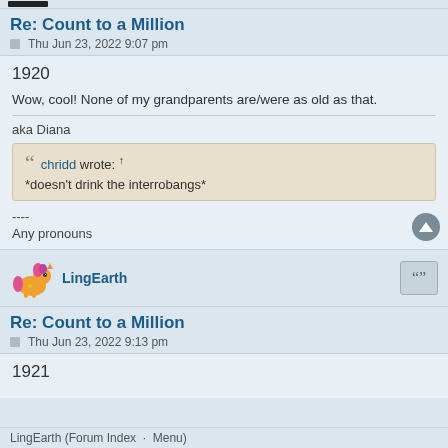Re: Count to a Million
Thu Jun 23, 2022 9:07 pm
1920
Wow, cool! None of my grandparents are/were as old as that.
aka Diana
chridd wrote: ↑
*doesn't drink the interrobangs*
----
Any pronouns
LingEarth
Re: Count to a Million
Thu Jun 23, 2022 9:13 pm
1921
LingEarth (Forum Index Menu)